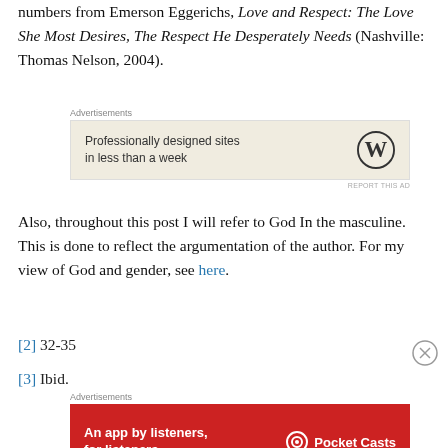numbers from Emerson Eggerichs, Love and Respect: The Love She Most Desires, The Respect He Desperately Needs (Nashville: Thomas Nelson, 2004).
[Figure (screenshot): WordPress advertisement: 'Professionally designed sites in less than a week' with WordPress logo]
Also, throughout this post I will refer to God In the masculine. This is done to reflect the argumentation of the author. For my view of God and gender, see here.
[2] 32-35
[3] Ibid.
[Figure (screenshot): Pocket Casts advertisement: 'An app by listeners, for listeners.']